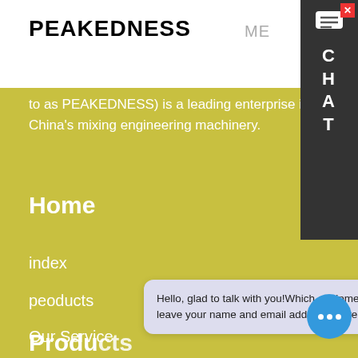PEAKEDNESS
to as PEAKEDNESS) is a leading enterprise in the field China's mixing engineering machinery.
Home
index
peoducts
Our Service
About Us
Contact Us
Hello, glad to talk with you!Which equipment are you interested in?Kindly leave your name and email add, we will reply you with detail
Products